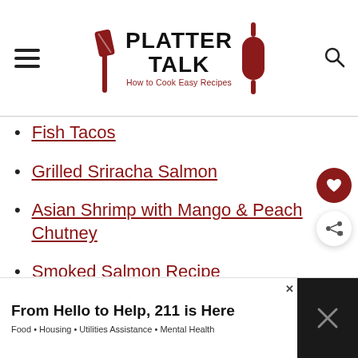PLATTER TALK — How to Cook Easy Recipes
Fish Tacos
Grilled Sriracha Salmon
Asian Shrimp with Mango & Peach Chutney
Smoked Salmon Recipe
What to Serve with Smoked Salmon
From Hello to Help, 211 is Here — Food • Housing • Utilities Assistance • Mental Health